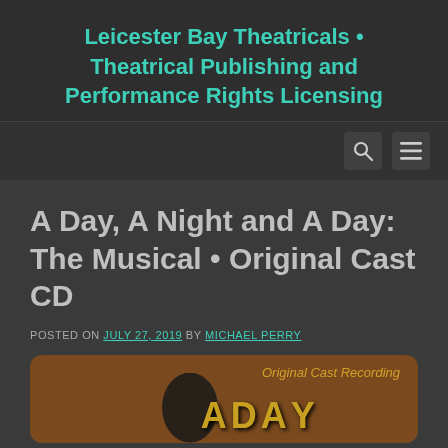Leicester Bay Theatricals • Theatrical Publishing and Performance Rights Licensing
A Day, A Night and A Day: The Musical • Original Cast CD
POSTED ON JULY 27, 2019 BY MICHAEL PERRY
[Figure (photo): Original Cast Recording CD cover — brown/orange background with gold decorative lettering and a dark silhouetted figure]